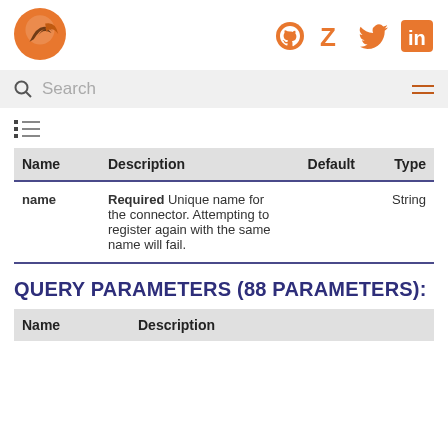Logo and navigation icons (GitHub, Z, Twitter, LinkedIn)
| Name | Description | Default | Type |
| --- | --- | --- | --- |
| name | Required Unique name for the connector. Attempting to register again with the same name will fail. |  | String |
QUERY PARAMETERS (88 PARAMETERS):
| Name | Description |
| --- | --- |